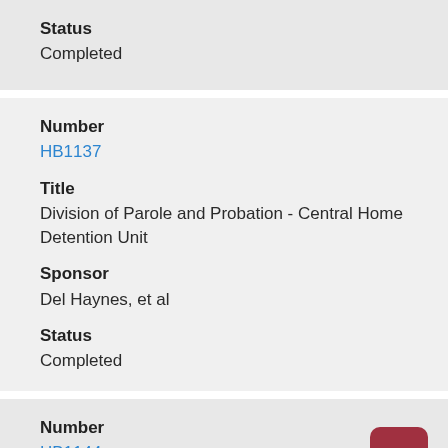Status
Completed
Number
HB1137
Title
Division of Parole and Probation - Central Home Detention Unit
Sponsor
Del Haynes, et al
Status
Completed
Number
HB1144